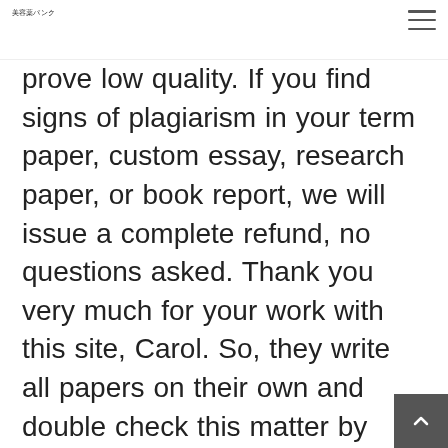美容薬パンク
prove low quality. If you find signs of plagiarism in your term paper, custom essay, research paper, or book report, we will issue a complete refund, no questions asked. Thank you very much for your work with this site, Carol. So, they write all papers on their own and double check this matter by using different tools and software. Lots of free features. When I got my paper I was skeptical because I couldn't check it looked good, my English is average. Hire an editor or coach whe you need one, request feedback from y